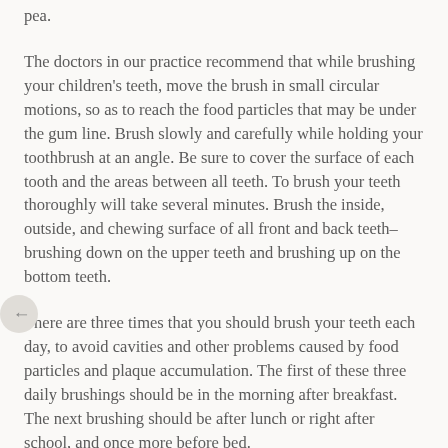pea.
The doctors in our practice recommend that while brushing your children's teeth, move the brush in small circular motions, so as to reach the food particles that may be under the gum line. Brush slowly and carefully while holding your toothbrush at an angle. Be sure to cover the surface of each tooth and the areas between all teeth. To brush your teeth thoroughly will take several minutes. Brush the inside, outside, and chewing surface of all front and back teeth–brushing down on the upper teeth and brushing up on the bottom teeth.
There are three times that you should brush your teeth each day, to avoid cavities and other problems caused by food particles and plaque accumulation. The first of these three daily brushings should be in the morning after breakfast. The next brushing should be after lunch or right after school, and once more before bed.